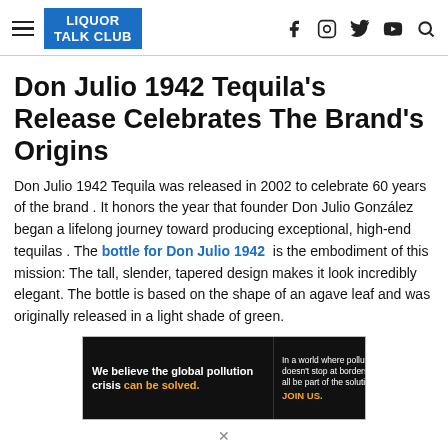LIQUOR TALK CLUB — navigation header with social icons
Don Julio 1942 Tequila's Release Celebrates The Brand's Origins
Don Julio 1942 Tequila was released in 2002 to celebrate 60 years of the brand . It honors the year that founder Don Julio González began a lifelong journey toward producing exceptional, high-end tequilas . The bottle for Don Julio 1942 is the embodiment of this mission: The tall, slender, tapered design makes it look incredibly elegant. The bottle is based on the shape of an agave leaf and was originally released in a light shade of green.
[Figure (infographic): Pure Earth advertisement banner: black background with text 'We believe the global pollution crisis can be solved.' and 'In a world where pollution doesn't stop at borders, we can all be part of the solution. JOIN US.' with Pure Earth logo on white background]